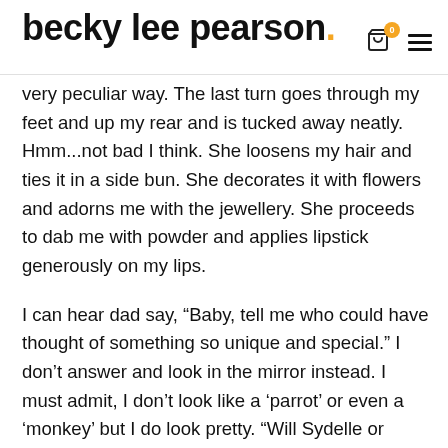becky lee pearson.
very peculiar way. The last turn goes through my feet and up my rear and is tucked away neatly. Hmm...not bad I think. She loosens my hair and ties it in a side bun. She decorates it with flowers and adorns me with the jewellery. She proceeds to dab me with powder and applies lipstick generously on my lips.
I can hear dad say, “Baby, tell me who could have thought of something so unique and special.” I don’t answer and look in the mirror instead. I must admit, I don’t look like a ‘parrot’ or even a ‘monkey’ but I do look pretty. “Will Sydelle or Nikola look so pretty?” he asked me rhetorically. I want to thank him and ask him from where he got the dress but I fear that I may smear my lipstick and so simply signal him that I like it and that it is time to